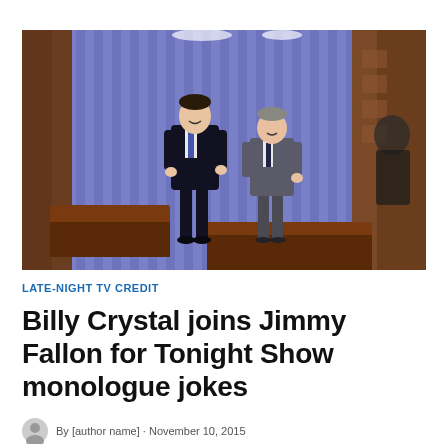[Figure (photo): Two men in suits standing on The Tonight Show stage in front of a blue curtain backdrop. The taller man on the left (Jimmy Fallon) wears a dark suit with a patterned tie, and the man on the right (Billy Crystal) wears a gray suit. Brown wooden walls and desk furniture visible on either side.]
LATE-NIGHT TV CREDIT
Billy Crystal joins Jimmy Fallon for Tonight Show monologue jokes
By [author name] · November 10, 2015